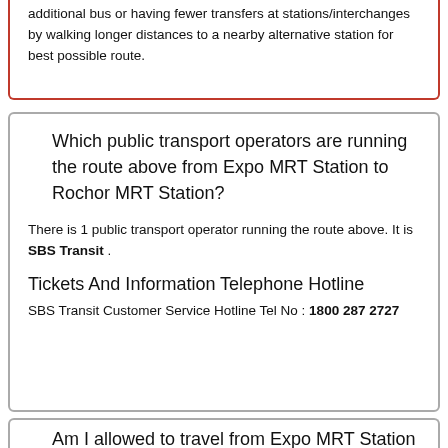additional bus or having fewer transfers at stations/interchanges by walking longer distances to a nearby alternative station for best possible route.
Which public transport operators are running the route above from Expo MRT Station to Rochor MRT Station?
There is 1 public transport operator running the route above. It is SBS Transit .
Tickets And Information Telephone Hotline
SBS Transit Customer Service Hotline Tel No : 1800 287 2727
Am I allowed to travel from Expo MRT Station to Rochor MRT Station?